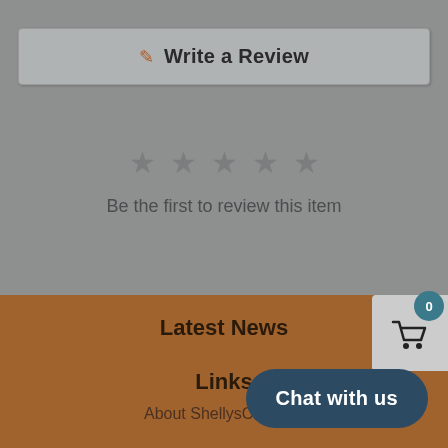✎ Write a Review
[Figure (other): Five empty/outline stars indicating no reviews yet]
Be the first to review this item
Latest News
Links
About ShellysClayspot
[Figure (other): Shopping cart icon with badge showing 0]
Chat with us